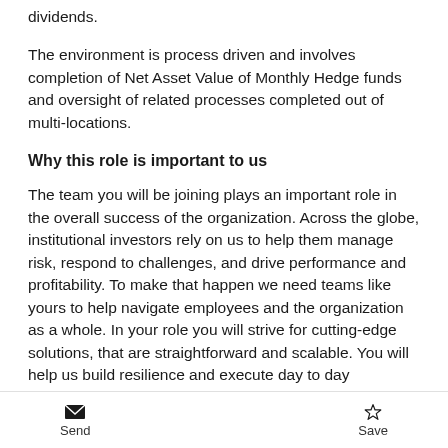dividends.
The environment is process driven and involves completion of Net Asset Value of Monthly Hedge funds and oversight of related processes completed out of multi-locations.
Why this role is important to us
The team you will be joining plays an important role in the overall success of the organization. Across the globe, institutional investors rely on us to help them manage risk, respond to challenges, and drive performance and profitability. To make that happen we need teams like yours to help navigate employees and the organization as a whole. In your role you will strive for cutting-edge solutions, that are straightforward and scalable. You will help us build resilience and execute day to day deliverables at our best. Join us if making
Send   Save